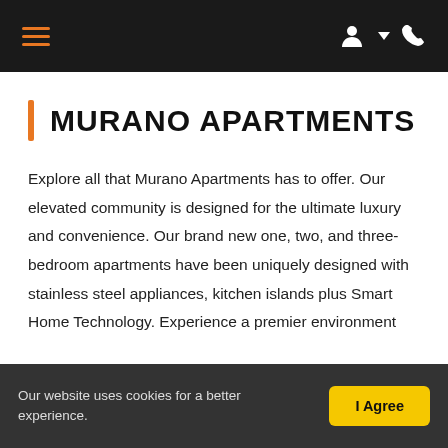Navigation bar with hamburger menu and account/phone icons
MURANO APARTMENTS
Explore all that Murano Apartments has to offer. Our elevated community is designed for the ultimate luxury and convenience. Our brand new one, two, and three-bedroom apartments have been uniquely designed with stainless steel appliances, kitchen islands plus Smart Home Technology. Experience a premier environment
Our website uses cookies for a better experience.  I Agree